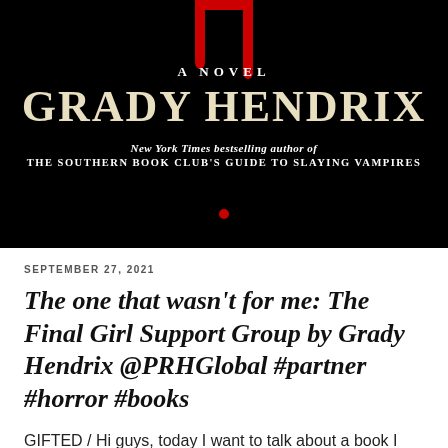[Figure (photo): Book cover of 'The Final Girl Support Group' by Grady Hendrix showing red bookmark/drip design on black background with text: 'A NOVEL', 'GRADY HENDRIX', 'New York Times bestselling author of THE SOUTHERN BOOK CLUB'S GUIDE TO SLAYING VAMPIRES']
SEPTEMBER 27, 2021
The one that wasn't for me: The Final Girl Support Group by Grady Hendrix @PRHGlobal #partner #horror #books
GIFTED / Hi guys, today I want to talk about a book I read recently, that is pretty hyped up. Horror